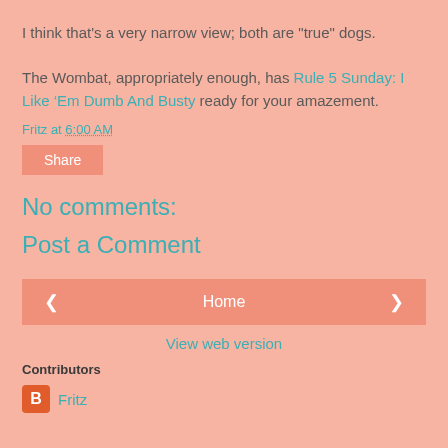I think that's a very narrow view; both are "true" dogs.
The Wombat, appropriately enough, has Rule 5 Sunday: I Like ‘Em Dumb And Busty ready for your amazement.
Fritz at 6:00 AM
Share
No comments:
Post a Comment
< | Home | >
View web version
Contributors
Fritz